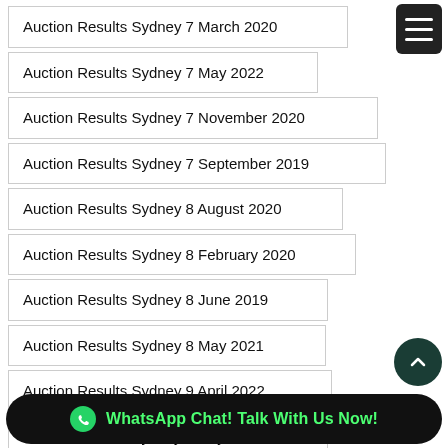Auction Results Sydney 7 March 2020
Auction Results Sydney 7 May 2022
Auction Results Sydney 7 November 2020
Auction Results Sydney 7 September 2019
Auction Results Sydney 8 August 2020
Auction Results Sydney 8 February 2020
Auction Results Sydney 8 June 2019
Auction Results Sydney 8 May 2021
Auction Results Sydney 9 April 2022
Auction Results Sydney 9 July 2022
Auction Results Sydney 9 May 2020
Auction Results Sydney 9 October 2021